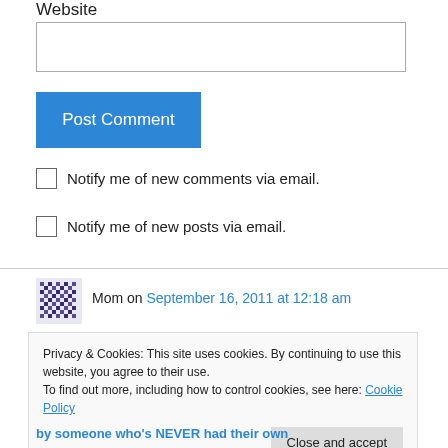Website
[Figure (screenshot): Website text input field (empty)]
[Figure (screenshot): Post Comment button (blue)]
Notify me of new comments via email.
Notify me of new posts via email.
Mom on September 16, 2011 at 12:18 am
Privacy & Cookies: This site uses cookies. By continuing to use this website, you agree to their use.
To find out more, including how to control cookies, see here: Cookie Policy
Close and accept
by someone who's NEVER had their own